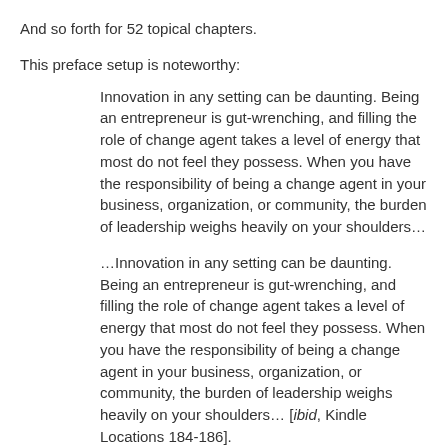And so forth for 52 topical chapters.
This preface setup is noteworthy:
Innovation in any setting can be daunting. Being an entrepreneur is gut-wrenching, and filling the role of change agent takes a level of energy that most do not feel they possess. When you have the responsibility of being a change agent in your business, organization, or community, the burden of leadership weighs heavily on your shoulders…
…Innovation in any setting can be daunting. Being an entrepreneur is gut-wrenching, and filling the role of change agent takes a level of energy that most do not feel they possess. When you have the responsibility of being a change agent in your business, organization, or community, the burden of leadership weighs heavily on your shoulders… [ibid, Kindle Locations 184-186].